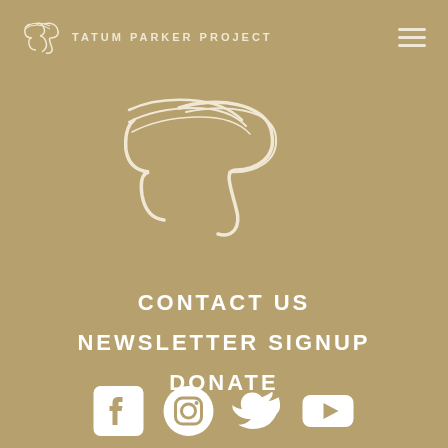[Figure (logo): Tatum Parker Project logo in top-left header with small TP emblem and text 'TATUM PARKER PROJECT']
[Figure (logo): Large Tatum Parker Project TP swirl logo centered in upper portion of page]
CONTACT US
NEWSLETTER SIGNUP
DONATE
[Figure (infographic): Social media icons: Facebook, Instagram, Twitter, YouTube — all white on tan background]